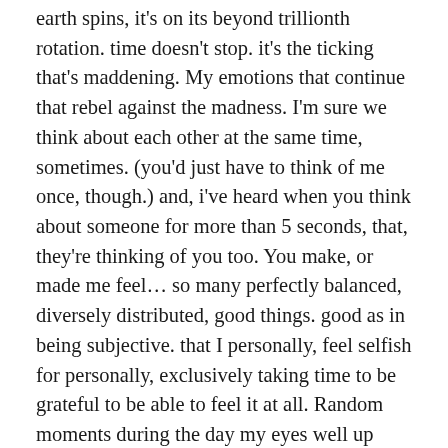earth spins, it's on its beyond trillionth rotation. time doesn't stop. it's the ticking that's maddening. My emotions that continue that rebel against the madness. I'm sure we think about each other at the same time, sometimes. (you'd just have to think of me once, though.) and, i've heard when you think about someone for more than 5 seconds, that, they're thinking of you too. You make, or made me feel… so many perfectly balanced, diversely distributed, good things. good as in being subjective. that I personally, feel selfish for personally, exclusively taking time to be grateful to be able to feel it at all. Random moments during the day my eyes well up with water, like plants with condensation, a prick when you get your shot, or river banks when the earths crust becomes saturated with a long awaited storm. I'm happy that I could feel this. I didn't think things I wrote about so passionately would be true, or could become true, or even be scribbled onto paper. Imagine a fantasy writer finally being